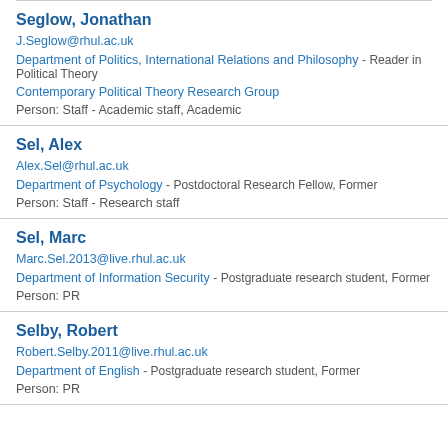Seglow, Jonathan
J.Seglow@rhul.ac.uk
Department of Politics, International Relations and Philosophy - Reader in Political Theory
Contemporary Political Theory Research Group
Person: Staff - Academic staff, Academic
Sel, Alex
Alex.Sel@rhul.ac.uk
Department of Psychology - Postdoctoral Research Fellow, Former
Person: Staff - Research staff
Sel, Marc
Marc.Sel.2013@live.rhul.ac.uk
Department of Information Security - Postgraduate research student, Former
Person: PR
Selby, Robert
Robert.Selby.2011@live.rhul.ac.uk
Department of English - Postgraduate research student, Former
Person: PR